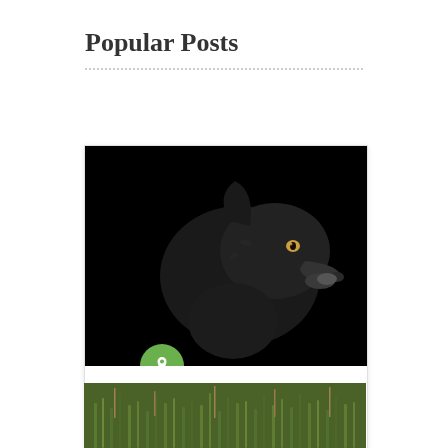Popular Posts
[Figure (photo): Black dog profile portrait against dark background, facing right, with visible eye]
Shelter Staff Finds A Huge Bullet In …
0
[Figure (photo): Grassy field scene, partial view at bottom of page]